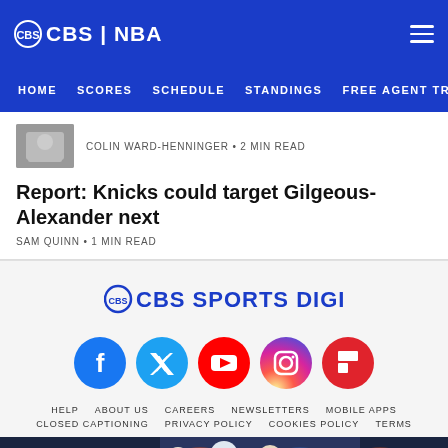CBS | NBA
HOME  SCORES  SCHEDULE  STANDINGS  FREE AGENT TRA
COLIN WARD-HENNINGER • 2 MIN READ
Report: Knicks could target Gilgeous-Alexander next
SAM QUINN • 1 MIN READ
[Figure (logo): CBS Sports Digital logo with CBS eye icon]
[Figure (infographic): Social media icons: Facebook, Twitter, YouTube, Instagram, Flipboard]
HELP  ABOUT US  CAREERS  NEWSLETTERS  MOBILE APPS  CLOSED CAPTIONING  PRIVACY POLICY  COOKIES POLICY  TERMS
[Figure (photo): Advertisement banner showing NFL players including Bengals, Bills, and Browns]